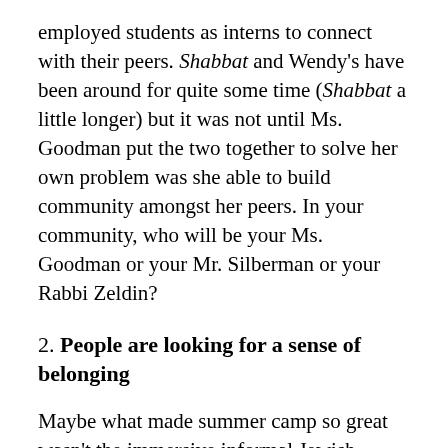employed students as interns to connect with their peers. Shabbat and Wendy's have been around for quite some time (Shabbat a little longer) but it was not until Ms. Goodman put the two together to solve her own problem was she able to build community amongst her peers. In your community, who will be your Ms. Goodman or your Mr. Silberman or your Rabbi Zeldin?
2. People are looking for a sense of belonging
Maybe what made summer camp so great wasn't the immersive informal Jewish education programming, but rather cabin time. Cabin time was a chance to connect and share with the rest of my bunkmates. The seniors in the film are not seeking the most impressive cantor, rabbi or religious service – they are seeking each other. In the film, Ms. Mehler said, "It is a chance to be myself."